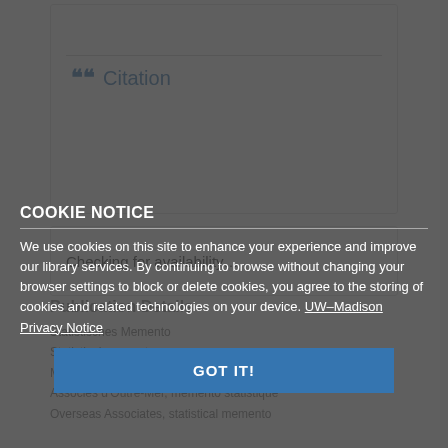Citation
Checking for availability…
COOKIE NOTICE
We use cookies on this site to enhance your experience and improve our library services. By continuing to browse without changing your browser settings to block or delete cookies, you agree to the storing of cookies and related technologies on your device. UW–Madison Privacy Notice
GOT IT!
Publication Details
Statistisches Memento
Statistical memento
Memento statistico
Associés d'Outre-Mer, memento statistique
Overseas Associates, statistical memento